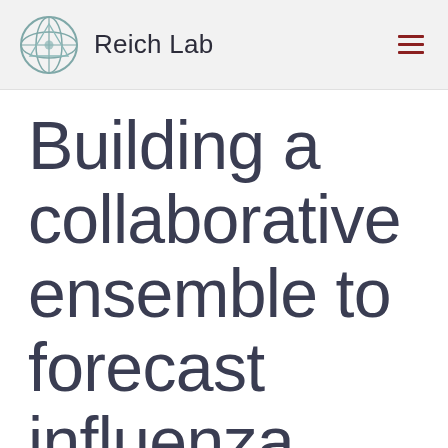Reich Lab
Building a collaborative ensemble to forecast influenza